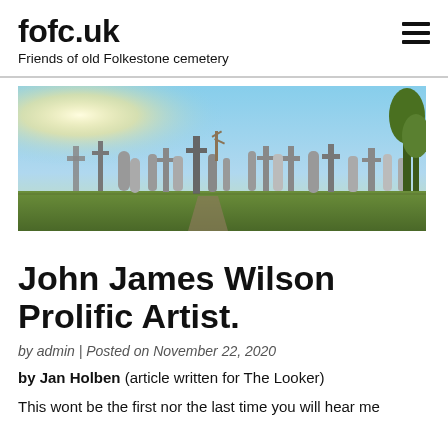fofc.uk
Friends of old Folkestone cemetery
[Figure (photo): Panoramic photograph of old Folkestone cemetery showing numerous headstones and crosses against a bright sky with trees in the background]
John James Wilson Prolific Artist.
by admin | Posted on November 22, 2020
by Jan Holben (article written for The Looker)
This wont be the first nor the last time you will hear me